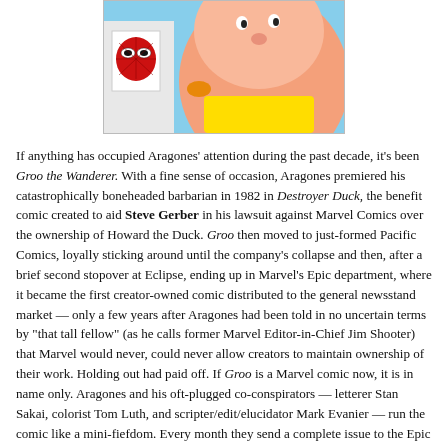[Figure (illustration): Partial view of a colorful comic illustration showing a large pink rotund character and a Spider-Man mask/face card visible in the lower left, in a bright cartoon style.]
If anything has occupied Aragones' attention during the past decade, it's been Groo the Wanderer. With a fine sense of occasion, Aragones premiered his catastrophically boneheaded barbarian in 1982 in Destroyer Duck, the benefit comic created to aid Steve Gerber in his lawsuit against Marvel Comics over the ownership of Howard the Duck. Groo then moved to just-formed Pacific Comics, loyally sticking around until the company's collapse and then, after a brief second stopover at Eclipse, ending up in Marvel's Epic department, where it became the first creator-owned comic distributed to the general newsstand market — only a few years after Aragones had been told in no uncertain terms by "that tall fellow" (as he calls former Marvel Editor-in-Chief Jim Shooter) that Marvel would never, could never allow creators to maintain ownership of their work. Holding out had paid off. If Groo is a Marvel comic now, it is in name only. Aragones and his oft-plugged co-conspirators — letterer Stan Sakai, colorist Tom Luth, and scripter/edit/elucidator Mark Evanier — run the comic like a mini-fiefdom. Every month they send a complete issue to the Epic offices (courteously leaving an inch at the bottom of the first page for Marvel to strip in the names of whichever three editors are in charge at the time) and every month it gets printed as is. Unsurprisingly, it's one of the very few late-'80s Marvel